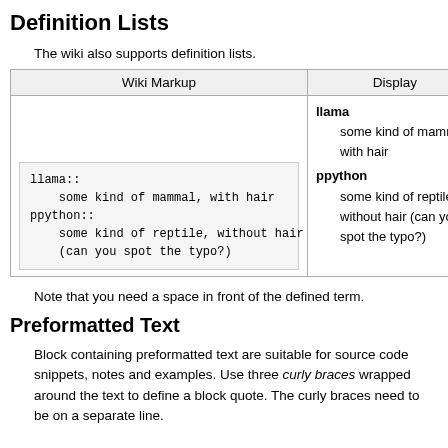Definition Lists
The wiki also supports definition lists.
| Wiki Markup | Display |
| --- | --- |
| llama::
    some kind of mammal, with hair
ppython::
    some kind of reptile, without hair
    (can you spot the typo?) | llama
    some kind of mammal, with hair
ppython
    some kind of reptile, without hair (can you spot the typo?) |
Note that you need a space in front of the defined term.
Preformatted Text
Block containing preformatted text are suitable for source code snippets, notes and examples. Use three curly braces wrapped around the text to define a block quote. The curly braces need to be on a separate line.